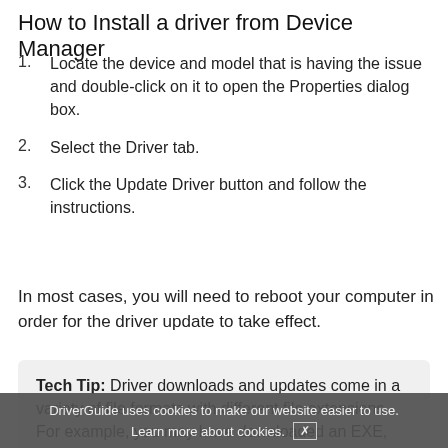How to Install a driver from Device Manager
Locate the device and model that is having the issue and double-click on it to open the Properties dialog box.
Select the Driver tab.
Click the Update Driver button and follow the instructions.
In most cases, you will need to reboot your computer in order for the driver update to take effect.
Tech Tip: Driver downloads and updates come in a variety of file formats with different file extensions. For example, you may have downloaded an EXE, INF, ZIP, or SYS file. Each file type has a slightly different installation procedure to follow.
DriverGuide uses cookies to make our website easier to use. Learn more about cookies. [×]